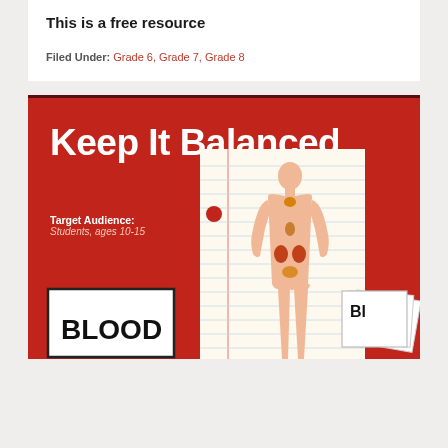This is a free resource
Filed Under: Grade 6, Grade 7, Grade 8
[Figure (illustration): Red educational poster titled 'Keep It Balanced' for Students ages 10-15, featuring a human body silhouette on notebook paper background with endocrine organs highlighted, and a 'BLOOD' card at the bottom left]